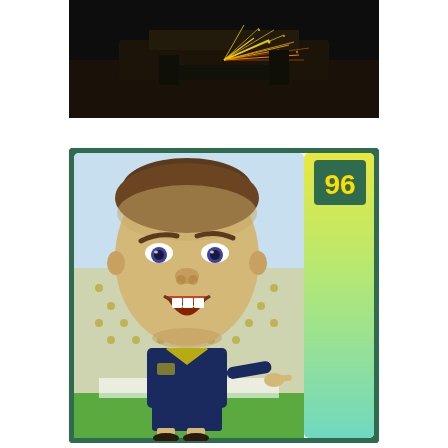[Figure (photo): Dark industrial/workshop scene with sparks flying, dark background with bright orange/yellow sparks]
[Figure (illustration): Caricature football sticker card of Vinnie Jones. Large caricature head with an angry/shouting expression, short hair, wearing a dark blue football kit with yellow collar, pointing finger. Green and yellow right side panel with '96' badge at top and 'VINNIE JONES' text written vertically. Background shows a football stadium with yellow dots pattern.]